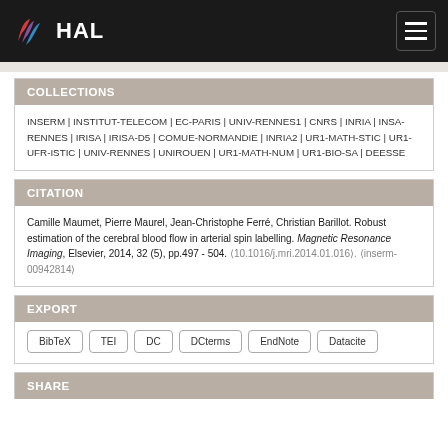HAL
COLLECTIONS
INSERM | INSTITUT-TELECOM | EC-PARIS | UNIV-RENNES1 | CNRS | INRIA | INSA-RENNES | IRISA | IRISA-D5 | COMUE-NORMANDIE | INRIA2 | UR1-MATH-STIC | UR1-UFR-ISTIC | UNIV-RENNES | UNIROUEN | UR1-MATH-NUM | UR1-BIO-SA | DEESSE
CITATION
Camille Maumet, Pierre Maurel, Jean-Christophe Ferré, Christian Barillot. Robust estimation of the cerebral blood flow in arterial spin labelling. Magnetic Resonance Imaging, Elsevier, 2014, 32 (5), pp.497 - 504. ⟨10.1016/j.mri.2014.01.016⟩. ⟨inserm-00942814⟩
EXPORT
BibTeX
TEI
DC
DCterms
EndNote
Datacite
SHARE